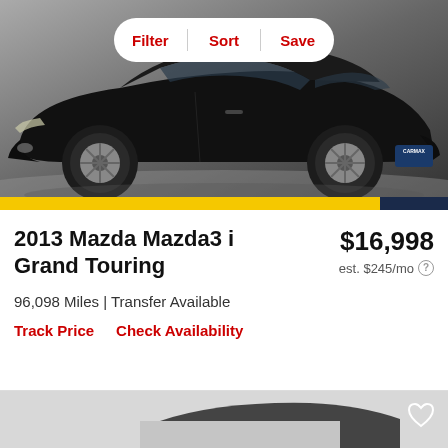[Figure (photo): Black 2013 Mazda Mazda3 photographed from front-left angle on white background, with CarMax dealer logo plate visible]
Filter | Sort | Save
2013 Mazda Mazda3 i Grand Touring
$16,998
est. $245/mo
96,098 Miles | Transfer Available
Track Price
Check Availability
[Figure (photo): Partial view of a second car listing below, showing a dark vehicle partially visible]